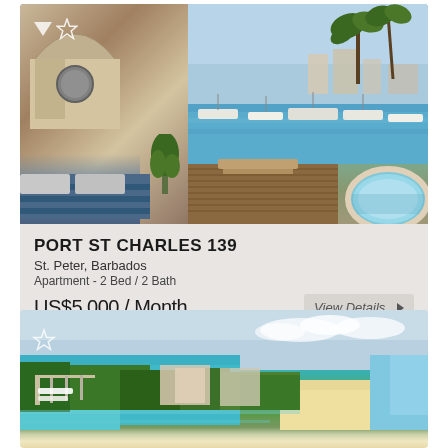[Figure (photo): Luxury apartment interior showing bedroom with blue bedding on the left, and a balcony/terrace view overlooking a marina with moored boats, palm trees, and calm turquoise water. A jacuzzi is visible in the foreground of the balcony area.]
PORT ST CHARLES 139
St. Peter, Barbados
Apartment - 2 Bed / 2 Bath
US$5,000 / Month
View Details ▶
[Figure (photo): Aerial photograph of a coastal marina and resort area with turquoise water, lush green vegetation, white sandy beach, and residential/resort buildings. The marina shows docked boats and the beach curves along the right side of the image.]